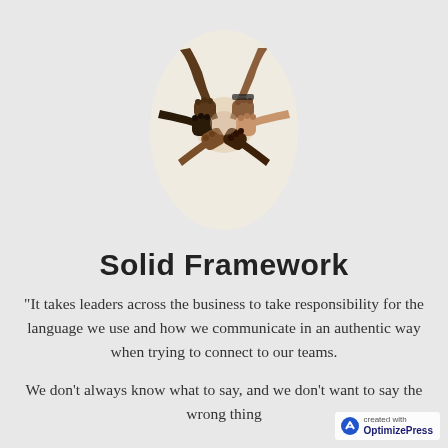[Figure (photo): Oval-cropped photo of multiple diverse hands coming together in a fist bump circle, shot from above, against a light beige background.]
Solid Framework
"It takes leaders across the business to take responsibility for the language we use and how we communicate in an authentic way when trying to connect to our teams.
We don't always know what to say, and we don't want to say the wrong thing